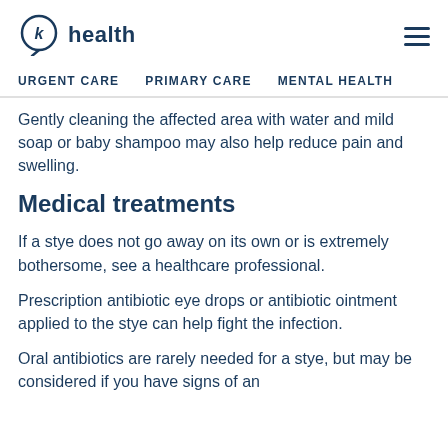k health
URGENT CARE  PRIMARY CARE  MENTAL HEALTH
Gently cleaning the affected area with water and mild soap or baby shampoo may also help reduce pain and swelling.
Medical treatments
If a stye does not go away on its own or is extremely bothersome, see a healthcare professional.
Prescription antibiotic eye drops or antibiotic ointment applied to the stye can help fight the infection.
Oral antibiotics are rarely needed for a stye, but may be considered if you have signs of an